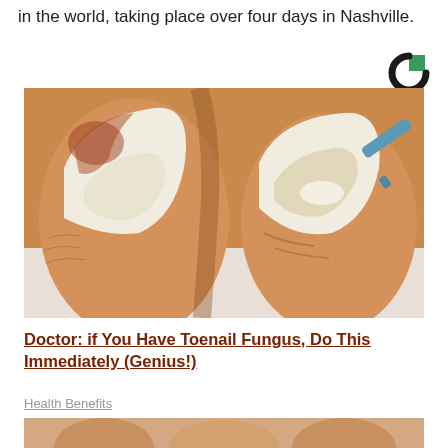in the world, taking place over four days in Nashville.
[Figure (logo): Christian Science Monitor circular logo mark in black and green]
[Figure (photo): Close-up illustration of two big toes with toenail fungus, one being treated with a blue applicator applying white cream]
Doctor: if You Have Toenail Fungus, Do This Immediately (Genius!)
Health Benefits
[Figure (photo): Partial bottom image showing fingers or toes, cropped at page edge]